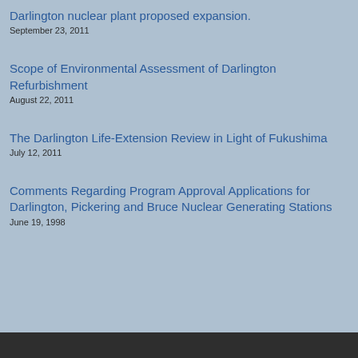Darlington nuclear plant proposed expansion.
September 23, 2011
Scope of Environmental Assessment of Darlington Refurbishment
August 22, 2011
The Darlington Life-Extension Review in Light of Fukushima
July 12, 2011
Comments Regarding Program Approval Applications for Darlington, Pickering and Bruce Nuclear Generating Stations
June 19, 1998